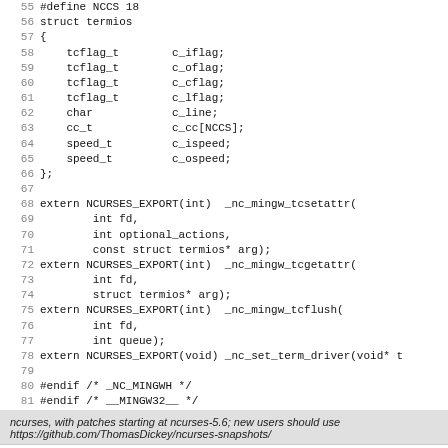Code listing lines 55-81 showing struct termios definition and ncurses function declarations
ncurses, with patches starting at ncurses-5.6; new users should use
https://github.com/ThomasDickey/ncurses-snapshots/
Atom  RSS